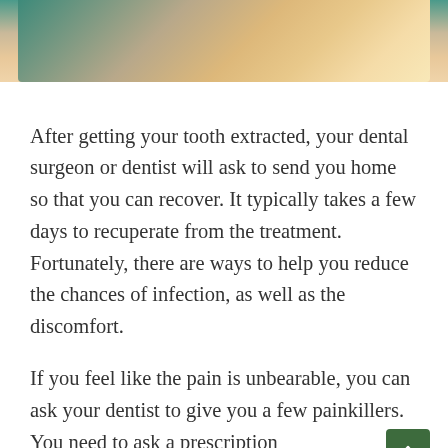[Figure (photo): Close-up photo of a person's face showing skin tones — appears to be a woman with blonde hair and fair skin, cropped to show lower face/chin area at the top of the page.]
After getting your tooth extracted, your dental surgeon or dentist will ask to send you home so that you can recover. It typically takes a few days to recuperate from the treatment. Fortunately, there are ways to help you reduce the chances of infection, as well as the discomfort.
If you feel like the pain is unbearable, you can ask your dentist to give you a few painkillers. You need to ask a prescription